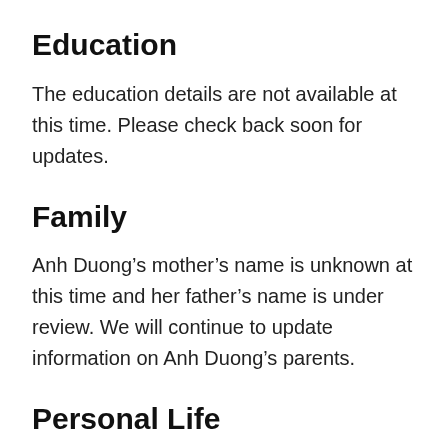Education
The education details are not available at this time. Please check back soon for updates.
Family
Anh Duong’s mother’s name is unknown at this time and her father’s name is under review. We will continue to update information on Anh Duong’s parents.
Personal Life